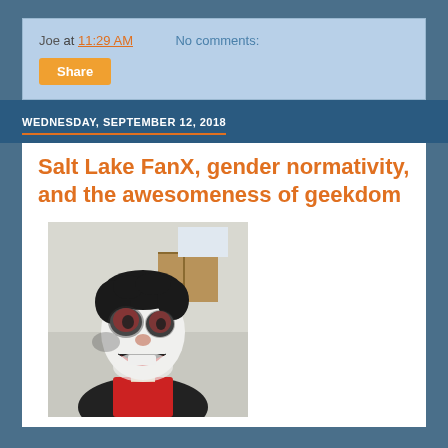Joe at 11:29 AM   No comments:
Share
WEDNESDAY, SEPTEMBER 12, 2018
Salt Lake FanX, gender normativity, and the awesomeness of geekdom
[Figure (photo): Person wearing clown/joker face makeup with white face paint, red circles on cheeks, dark eye makeup, smiling at camera in a kitchen setting]